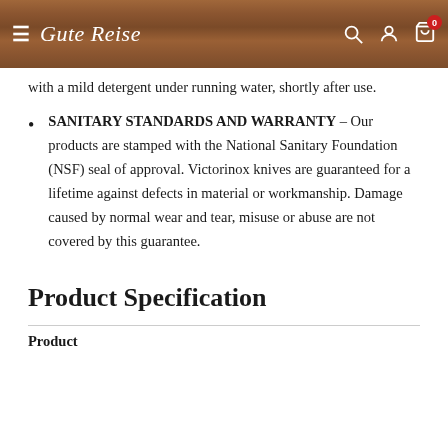Gute Reise
with a mild detergent under running water, shortly after use.
SANITARY STANDARDS AND WARRANTY – Our products are stamped with the National Sanitary Foundation (NSF) seal of approval. Victorinox knives are guaranteed for a lifetime against defects in material or workmanship. Damage caused by normal wear and tear, misuse or abuse are not covered by this guarantee.
Product Specification
Product